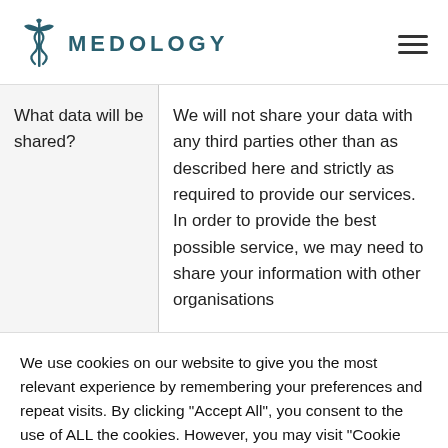MEDOLOGY
| What data will be shared? | We will not share your data with any third parties other than as described here and strictly as required to provide our services. In order to provide the best possible service, we may need to share your information with other organisations |
We use cookies on our website to give you the most relevant experience by remembering your preferences and repeat visits. By clicking "Accept All", you consent to the use of ALL the cookies. However, you may visit "Cookie Settings" to provide a controlled consent.
Cookie Settings | Accept All | Get help!